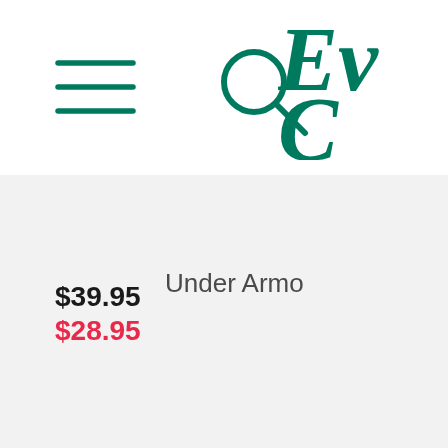[Figure (logo): Green hamburger menu icon (three horizontal lines)]
[Figure (logo): Green search/magnifying glass icon]
[Figure (logo): Partial green serif italic logo text starting with 'Ev' on first line and 'C' on second line]
Under Armo
$39.95
$28.95